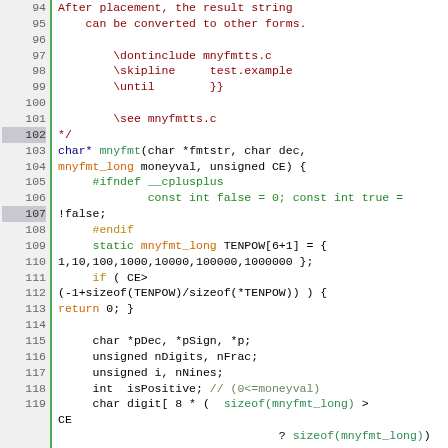[Figure (screenshot): Source code listing showing C code for mnyfmt function, lines 94-119, with syntax highlighting. Line numbers in grey left column, green vertical separator, code in right area with colored tokens.]